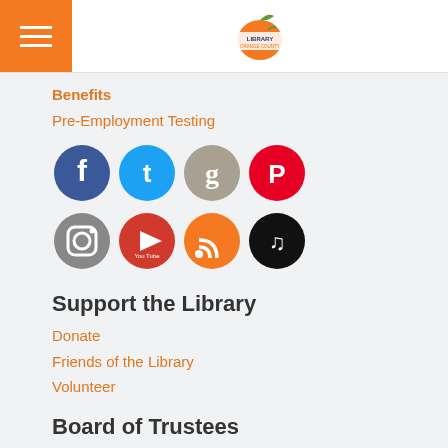Orange County Library System
Benefits
Pre-Employment Testing
[Figure (other): Social media icons: Facebook, Twitter, Goodreads, Pinterest, Instagram, YouTube, RSS, TikTok]
Support the Library
Donate
Friends of the Library
Volunteer
Board of Trustees
Board of Trustees Members
Board Meetings & Minutes
Board Resolutions
Board of Trustees By-Laws
Borrower Complaints